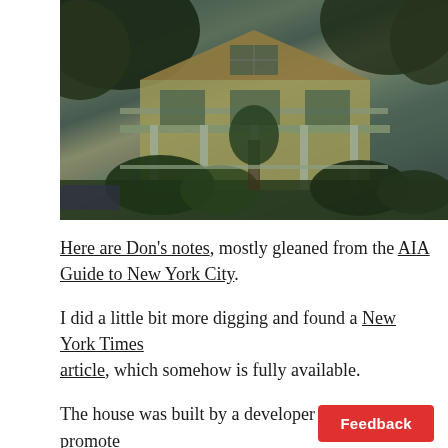[Figure (photo): Photograph of a historic Victorian-style house with a wraparound porch, decorative gable, large trees in foreground and background, surrounded by greenery. The house appears to be light yellow/cream colored with white trim and columns.]
Here are Don's notes, mostly gleaned from the AIA Guide to New York City.
I did a little bit more digging and found a New York Times article, which somehow is fully available.
The house was built by a developer in order to promote Prospect Park area.